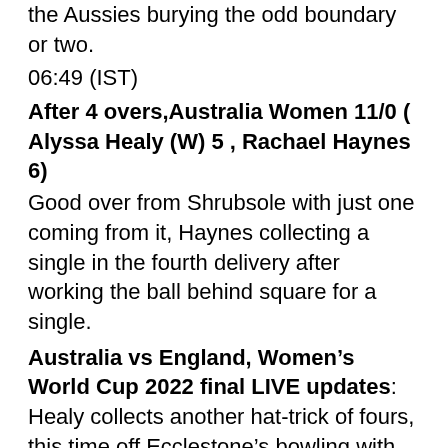the Aussies burying the odd boundary or two.
06:49 (IST)
After 4 overs,Australia Women 11/0 ( Alyssa Healy (W) 5 , Rachael Haynes 6)
Good over from Shrubsole with just one coming from it, Haynes collecting a single in the fourth delivery after working the ball behind square for a single.
Australia vs England, Women’s World Cup 2022 final LIVE updates: Healy collects another hat-trick of fours, this time off Ecclestone’s bowling with Mooney once again collecting a boundary off the last ball. 19 off Ecclestone’s penultimate over, the left-arm spinner having conceded 34 in her last two. Meanwhile, 52 have been collected in the last